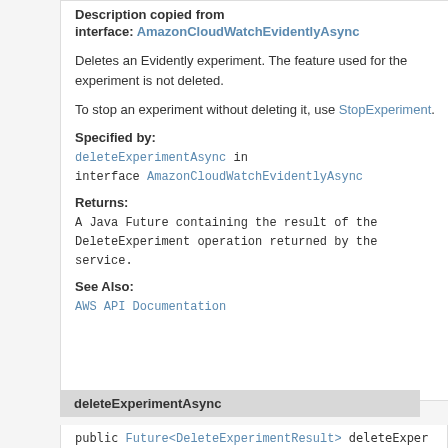Description copied from
interface: AmazonCloudWatchEvidentlyAsync
Deletes an Evidently experiment. The feature used for the experiment is not deleted.
To stop an experiment without deleting it, use StopExperiment.
Specified by:
deleteExperimentAsync in interface AmazonCloudWatchEvidentlyAsync
Returns:
A Java Future containing the result of the DeleteExperiment operation returned by the service.
See Also:
AWS API Documentation
deleteExperimentAsync
public Future<DeleteExperimentResult> deleteExper...